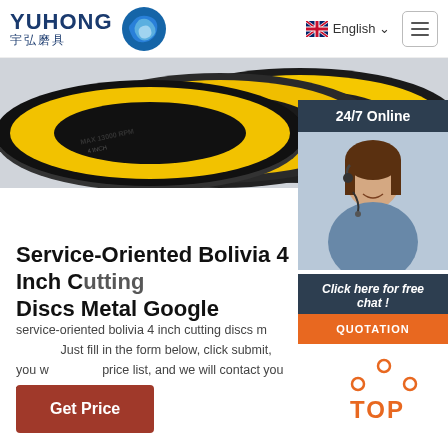YUHONG 宇弘磨具 | English
[Figure (photo): Product photo showing abrasive cutting discs with yellow and black labels stacked together]
[Figure (photo): Customer service agent woman with headset smiling, with 24/7 Online banner, Click here for free chat text, and QUOTATION button overlay]
Service-Oriented Bolivia 4 Inch Cutting Discs Metal Google
service-oriented bolivia 4 inch cutting discs metal google. Just fill in the form below, click submit, you will get the price list, and we will contact you within one working day.
Get Price
[Figure (other): TOP back-to-top button with orange dots and text]